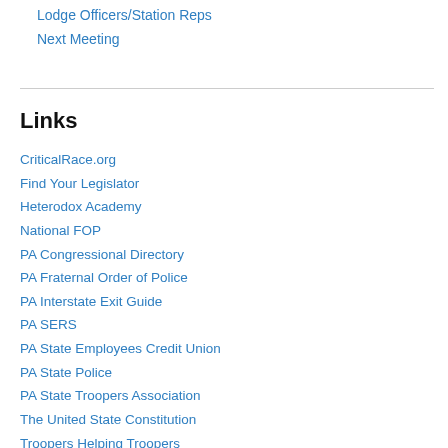Lodge Officers/Station Reps
Next Meeting
Links
CriticalRace.org
Find Your Legislator
Heterodox Academy
National FOP
PA Congressional Directory
PA Fraternal Order of Police
PA Interstate Exit Guide
PA SERS
PA State Employees Credit Union
PA State Police
PA State Troopers Association
The United State Constitution
Troopers Helping Troopers